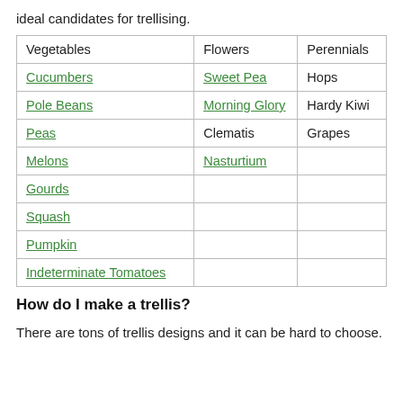ideal candidates for trellising.
| Vegetables | Flowers | Perennials |
| --- | --- | --- |
| Cucumbers | Sweet Pea | Hops |
| Pole Beans | Morning Glory | Hardy Kiwi |
| Peas | Clematis | Grapes |
| Melons | Nasturtium |  |
| Gourds |  |  |
| Squash |  |  |
| Pumpkin |  |  |
| Indeterminate Tomatoes |  |  |
How do I make a trellis?
There are tons of trellis designs and it can be hard to choose.